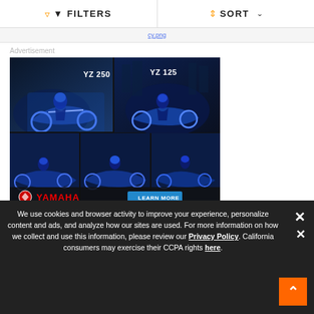FILTERS | SORT
Advertisement
[Figure (photo): Yamaha YZ motocross bike advertisement showing YZ250, YZ125, YZ85LW, YZ85, and YZ65 dirt bikes with riders on tracks. Blue dramatic background with Yamaha logo and LEARN MORE button.]
We use cookies and browser activity to improve your experience, personalize content and ads, and analyze how our sites are used. For more information on how we collect and use this information, please review our Privacy Policy. California consumers may exercise their CCPA rights here.